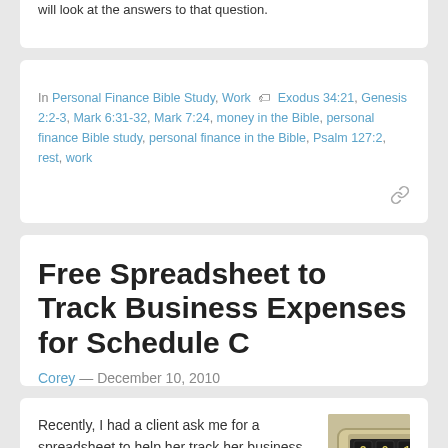will look at the answers to that question.
In Personal Finance Bible Study, Work  •  Exodus 34:21, Genesis 2:2-3, Mark 6:31-32, Mark 7:24, money in the Bible, personal finance Bible study, personal finance in the Bible, Psalm 127:2, rest, work
Free Spreadsheet to Track Business Expenses for Schedule C
Corey — December 10, 2010
Recently, I had a client ask me for a spreadsheet to help her track her business expenses. I put together an Excel…
[Figure (photo): Vintage mechanical adding machine/calculator with numbered dials showing digits]